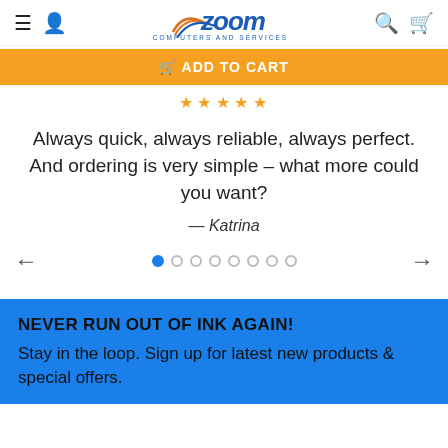Zoom Computers and Services
ADD TO CART
Customer Reviews
[Figure (other): Five orange star rating icons]
Always quick, always reliable, always perfect. And ordering is very simple – what more could you want?
— Katrina
[Figure (other): Carousel navigation with left arrow, 8 dots (first active), right arrow]
NEVER RUN OUT OF INK AGAIN!
Stay in the loop. Sign up for latest new products & special offers.